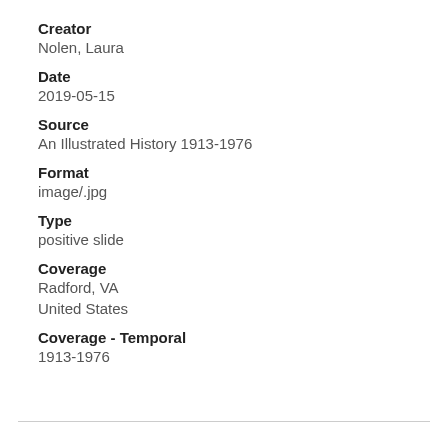Creator
Nolen, Laura
Date
2019-05-15
Source
An Illustrated History 1913-1976
Format
image/.jpg
Type
positive slide
Coverage
Radford, VA
United States
Coverage - Temporal
1913-1976